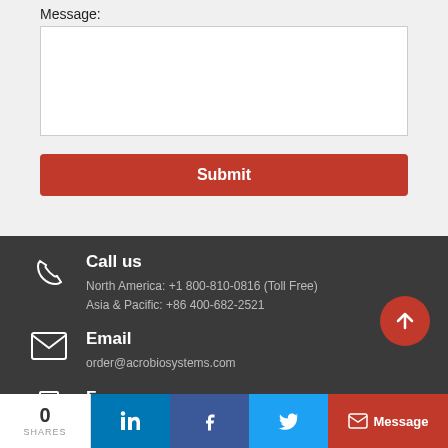Message:
[Figure (screenshot): White textarea input box for message content]
[Figure (screenshot): Red Submit button]
Call us
North America: +1 800-810-0816 (Toll Free)
Asia & Pacific: +86 400-682-2521
Email
order@acrobiosystems.com
Fax
0 SHARES | LinkedIn | Facebook | Twitter | Message